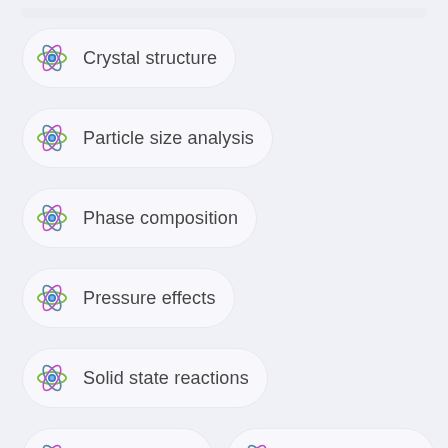Crystal structure
Particle size analysis
Phase composition
Pressure effects
Solid state reactions
Stoichiometry
X ray diffraction